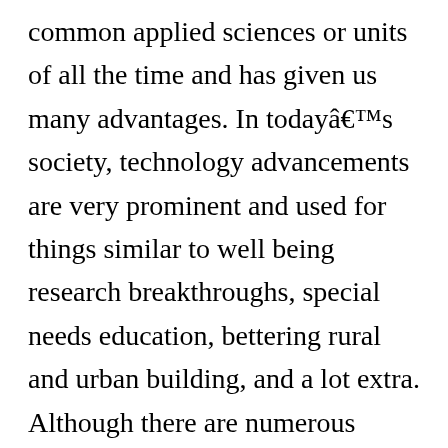common applied sciences or units of all the time and has given us many advantages. In todayâs society, technology advancements are very prominent and used for things similar to well being research breakthroughs, special needs education, bettering rural and urban building, and a lot extra. Although there are numerous positives to a relentless improve in expertise, there are also many downsides. My objective on this paper is to supply info in assist of how technology has negatively impacted society in numerous